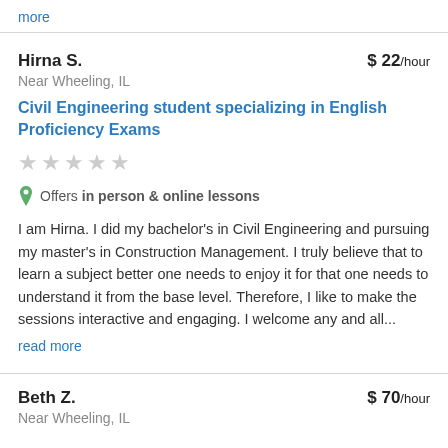more
Hirna S.
$ 22/hour
Near Wheeling, IL
Civil Engineering student specializing in English Proficiency Exams
[Figure (other): 5 empty/grey star rating icons]
Offers in person & online lessons
I am Hirna. I did my bachelor's in Civil Engineering and pursuing my master's in Construction Management. I truly believe that to learn a subject better one needs to enjoy it for that one needs to understand it from the base level. Therefore, I like to make the sessions interactive and engaging. I welcome any and all...
read more
Beth Z.
$ 70/hour
Near Wheeling, IL